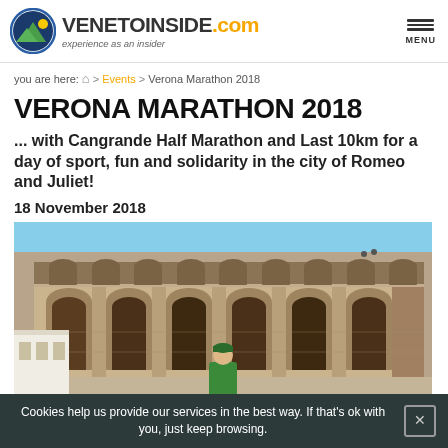VENETOINSIDE.com — experience as an insider
you are here: Home > Events > Verona Marathon 2018
VERONA MARATHON 2018
... with Cangrande Half Marathon and Last 10km for a day of sport, fun and solidarity in the city of Romeo and Juliet!
18 November 2018
[Figure (photo): Photograph of the Verona Arena (Roman amphitheatre) with a man in a green shirt and cap in the foreground, taken on a clear sunny day.]
Cookies help us provide our services in the best way. If that's ok with you, just keep browsing.